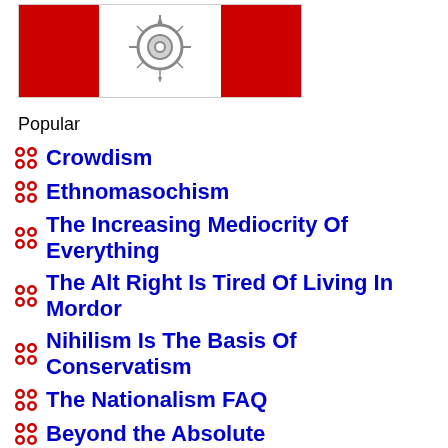[Figure (illustration): Flag image with red sides and white center containing a circular compass/sun symbol]
Popular
Crowdism
Ethnomasochism
The Increasing Mediocrity Of Everything
The Alt Right Is Tired Of Living In Mordor
Nihilism Is The Basis Of Conservatism
The Nationalism FAQ
Beyond the Absolute
Conservationism Versus Environmentalism
The Self-Inventing Totalitarian State